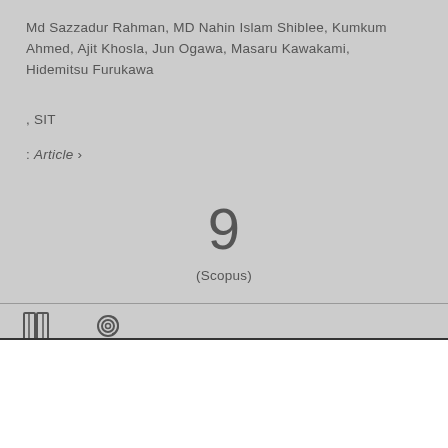Md Sazzadur Rahman, MD Nahin Islam Shiblee, Kumkum Ahmed, Ajit Khosla, Jun Ogawa, Masaru Kawakami, Hidemitsu Furukawa
, SIT
: Article ›
9
(Scopus)
Cookie
Cookie
—